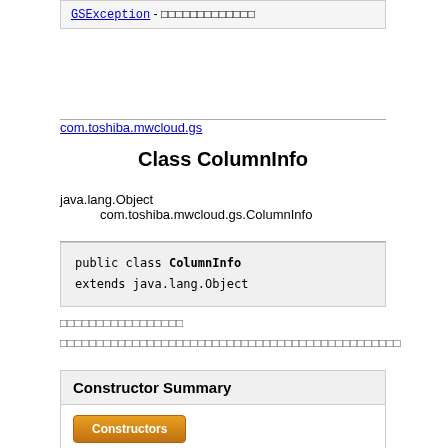GSException -
com.toshiba.mwcloud.gs
Class ColumnInfo
java.lang.Object
    com.toshiba.mwcloud.gs.ColumnInfo
public class ColumnInfo extends java.lang.Object
Constructor Summary
Constructors